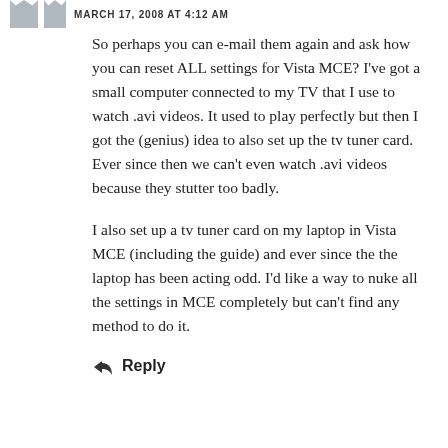MARCH 17, 2008 AT 4:12 AM
So perhaps you can e-mail them again and ask how you can reset ALL settings for Vista MCE? I've got a small computer connected to my TV that I use to watch .avi videos. It used to play perfectly but then I got the (genius) idea to also set up the tv tuner card. Ever since then we can't even watch .avi videos because they stutter too badly.
I also set up a tv tuner card on my laptop in Vista MCE (including the guide) and ever since the the laptop has been acting odd. I'd like a way to nuke all the settings in MCE completely but can't find any method to do it.
Reply